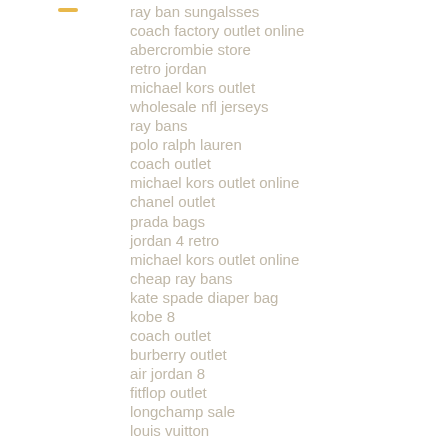ray ban sungalsses
coach factory outlet online
abercrombie store
retro jordan
michael kors outlet
wholesale nfl jerseys
ray bans
polo ralph lauren
coach outlet
michael kors outlet online
chanel outlet
prada bags
jordan 4 retro
michael kors outlet online
cheap ray bans
kate spade diaper bag
kobe 8
coach outlet
burberry outlet
air jordan 8
fitflop outlet
longchamp sale
louis vuitton